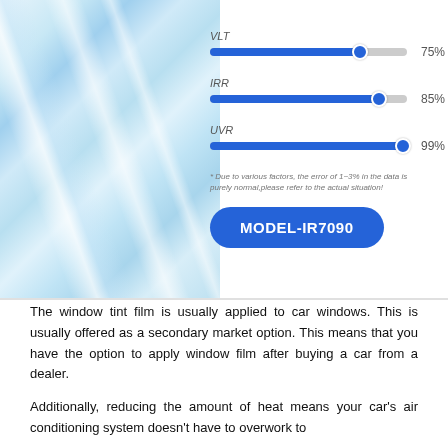[Figure (infographic): Window tint film product image on the left (glass strips with blue/silver sheen). On the right: three horizontal slider bars showing VLT 75%, IRR 85%, UVR 99%. A footnote about 1-3% error. A blue rounded button labeled MODEL-IR7090.]
The window tint film is usually applied to car windows. This is usually offered as a secondary market option. This means that you have the option to apply window film after buying a car from a dealer.
Additionally, reducing the amount of heat means your car's air conditioning system doesn't have to overwork to